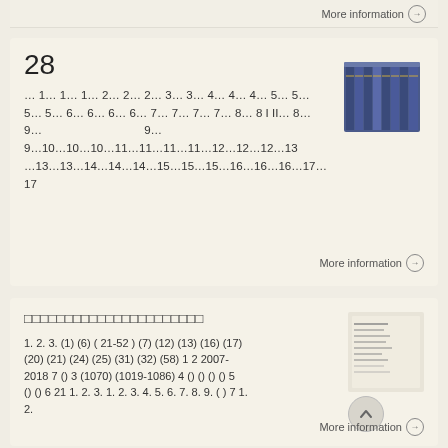More information →
28
… 1… 1… 1… 2… 2… 2… 3… 3… 4… 4… 4… 5… 5… 5… 5… 6… 6… 6… 6… 7… 7… 7… 7… 8… 8 I II… 8… 9… 9… 9…10…10…10…11…11…11…11…12…12…12…13…13…13…14…14…14…15…15…15…16…16…16…17…17
[Figure (photo): Stack of blue hardcover books]
More information →
□□□□□□□□□□□□□□□□□□□□□□
1. 2. 3. (1) (6) ( 21-52 ) (7) (12) (13) (16) (17) (20) (21) (24) (25) (31) (32) (58) 1 2 2007-2018 7 () 3 (1070) (1019-1086) 4 () () () () 5 () () 6 21 1. 2. 3. 1. 2. 3. 4. 5. 6. 7. 8. 9. ( ) 7 1. 2.
[Figure (photo): Small thumbnail image of a document or book]
More information →